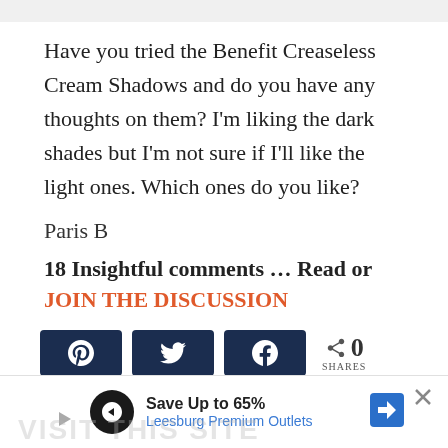Have you tried the Benefit Creaseless Cream Shadows and do you have any thoughts on them? I'm liking the dark shades but I'm not sure if I'll like the light ones. Which ones do you like?
Paris B
18 Insightful comments … Read or JOIN THE DISCUSSION
[Figure (infographic): Social share buttons: Pinterest, Twitter, Facebook icons in dark navy blue rounded rectangles, followed by a share icon with count showing 0 SHARES]
[Figure (infographic): Advertisement bar: Save Up to 65% Leesburg Premium Outlets with arrow icon and close button]